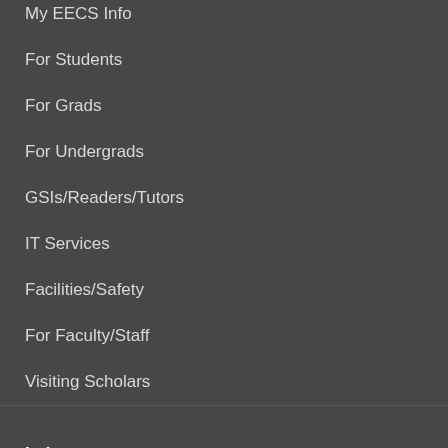My EECS Info
For Students
For Grads
For Undergrads
GSIs/Readers/Tutors
IT Services
Facilities/Safety
For Faculty/Staff
Visiting Scholars
Industry
Recruit Students
Corporate Access